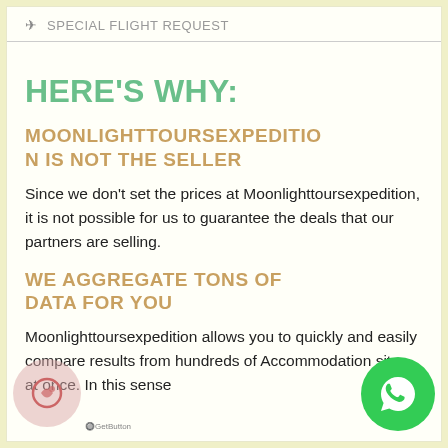✈ SPECIAL FLIGHT REQUEST
HERE'S WHY:
MOONLIGHTTOURSEXPEDITION IS NOT THE SELLER
Since we don't set the prices at Moonlighttoursexpedition, it is not possible for us to guarantee the deals that our partners are selling.
WE AGGREGATE TONS OF DATA FOR YOU
Moonlighttoursexpedition allows you to quickly and easily compare results from hundreds of Accommodation sites at once. In this sense